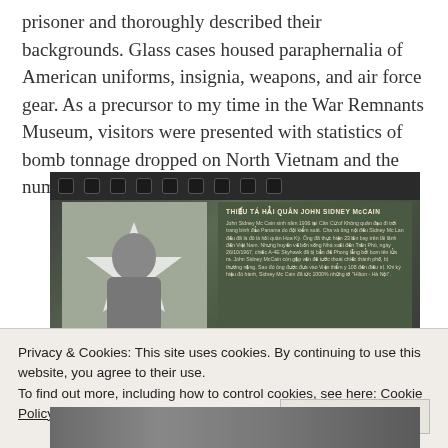prisoner and thoroughly described their backgrounds. Glass cases housed paraphernalia of American uniforms, insignia, weapons, and air force gear. As a precursor to my time in the War Remnants Museum, visitors were presented with statistics of bomb tonnage dropped on North Vietnam and the number of B-52s shot down by
[Figure (photo): Museum exhibit showing a display panel about John Sidney McCain with a portrait photo on the left side and Vietnamese text on a dark green background panel. Film strip border visible at top.]
Privacy & Cookies: This site uses cookies. By continuing to use this website, you agree to their use.
To find out more, including how to control cookies, see here: Cookie Policy
[Figure (photo): Partial photo at bottom of page, appears to show historical black and white images.]